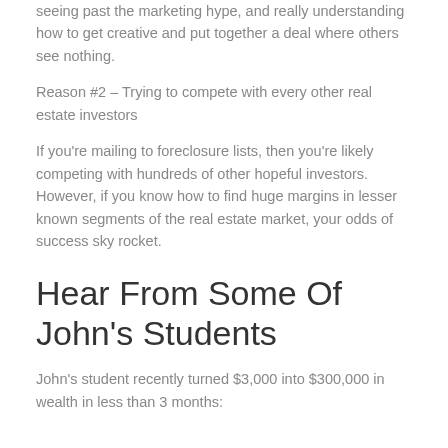seeing past the marketing hype, and really understanding how to get creative and put together a deal where others see nothing.
Reason #2 – Trying to compete with every other real estate investors
If you're mailing to foreclosure lists, then you're likely competing with hundreds of other hopeful investors.  However, if you know how to find huge margins in lesser known segments of the real estate market, your odds of success sky rocket.
Hear From Some Of John's Students
John's student recently turned $3,000 into $300,000 in wealth in less than 3 months: